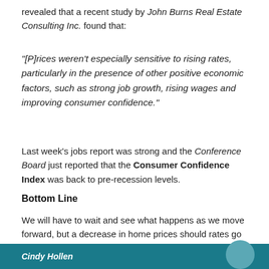revealed that a recent study by John Burns Real Estate Consulting Inc. found that:
“[P]rices weren’t especially sensitive to rising rates, particularly in the presence of other positive economic factors, such as strong job growth, rising wages and improving consumer confidence.”
Last week’s jobs report was strong and the Conference Board just reported that the Consumer Confidence Index was back to pre-recession levels.
Bottom Line
We will have to wait and see what happens as we move forward, but a decrease in home prices should rates go up is anything but guaranteed.
Cindy Hollen